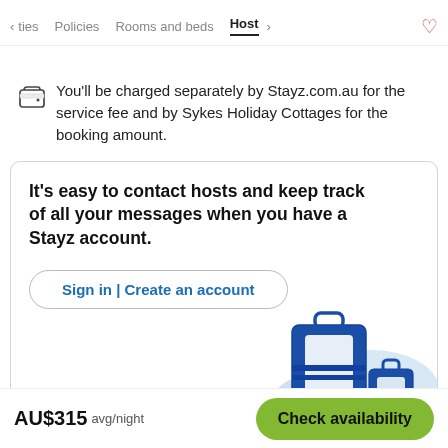ies   Policies   Rooms and beds   Host
You'll be charged separately by Stayz.com.au for the service fee and by Sykes Holiday Cottages for the booking amount.
It's easy to contact hosts and keep track of all your messages when you have a Stayz account.
Sign in | Create an account
[Figure (illustration): Luggage/suitcase illustration with blue travel bags on a light blue background]
AU$315 avg/night
Check availability